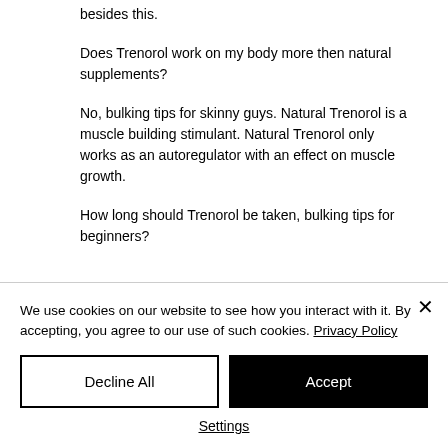besides this.
Does Trenorol work on my body more then natural supplements?
No, bulking tips for skinny guys. Natural Trenorol is a muscle building stimulant. Natural Trenorol only works as an autoregulator with an effect on muscle growth.
How long should Trenorol be taken, bulking tips for beginners?
We use cookies on our website to see how you interact with it. By accepting, you agree to our use of such cookies. Privacy Policy
Decline All
Accept
Settings